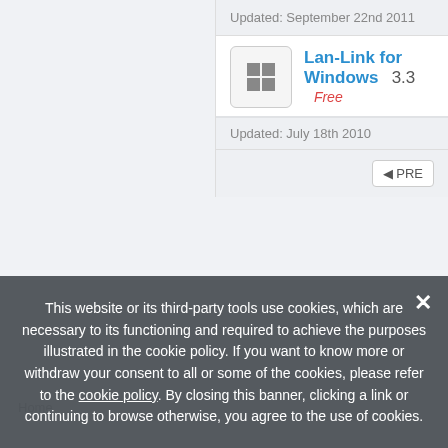Updated: September 22nd 2011
Lan-Link for Windows  3.3  Free
Updated: July 18th 2010
◄ PRE
Home
This website or its third-party tools use cookies, which are necessary to its functioning and required to achieve the purposes illustrated in the cookie policy. If you want to know more or withdraw your consent to all or some of the cookies, please refer to the cookie policy. By closing this banner, clicking a link or continuing to browse otherwise, you agree to the use of cookies.